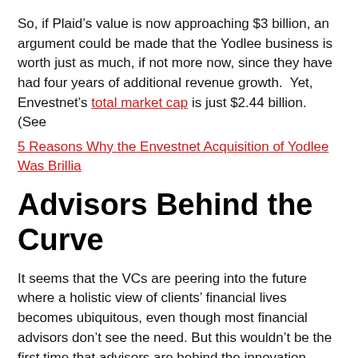So, if Plaid's value is now approaching $3 billion, an argument could be made that the Yodlee business is worth just as much, if not more now, since they have had four years of additional revenue growth.  Yet, Envestnet's total market cap is just $2.44 billion.  (See 5 Reasons Why the Envestnet Acquisition of Yodlee Was Brillia
Advisors Behind the Curve
It seems that the VCs are peering into the future where a holistic view of clients' financial lives becomes ubiquitous, even though most financial advisors don't see the need. But this wouldn't be the first time that advisors are behind the innovation curve.
Plaid and Yodlee have the broadest exposure, especially in banking (i.e. checking, credit cards), this is less important to financial advisors since they don't use expense data, unless they're doing budgeting, which is rare.  While